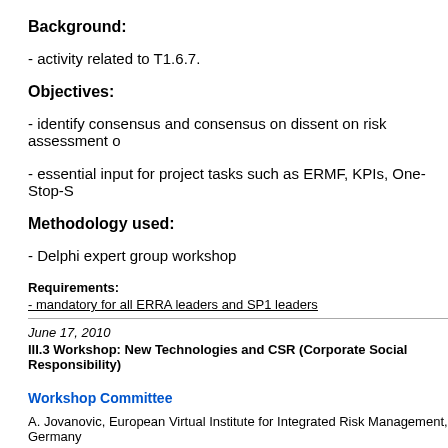Background:
- activity related to T1.6.7.
Objectives:
- identify consensus and consensus on dissent on risk assessment o
- essential input for project tasks such as ERMF, KPIs, One-Stop-S
Methodology used:
- Delphi expert group workshop
Requirements:
- mandatory for all ERRA leaders and SP1 leaders
June 17, 2010
III.3 Workshop: New Technologies and CSR (Corporate Social Responsibility)
Workshop Committee
A. Jovanovic, European Virtual Institute for Integrated Risk Management, Germany
R. X. Ruter, Ernst & Young, Germany
W. Scheupemann, DOKEO, Germany (ytbc)